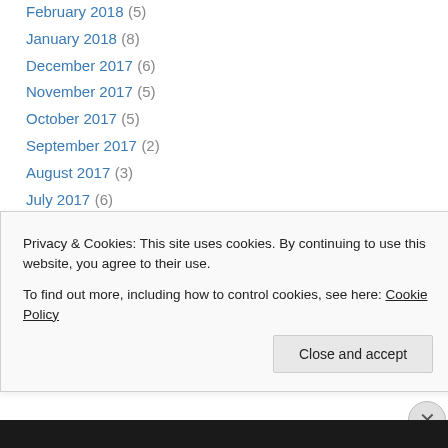February 2018 (5)
January 2018 (8)
December 2017 (6)
November 2017 (5)
October 2017 (5)
September 2017 (2)
August 2017 (3)
July 2017 (6)
June 2017 (4)
May 2017 (6)
April 2017 (1)
February 2017 (1)
January 2017 (3)
December 2016 (3)
Privacy & Cookies: This site uses cookies. By continuing to use this website, you agree to their use. To find out more, including how to control cookies, see here: Cookie Policy